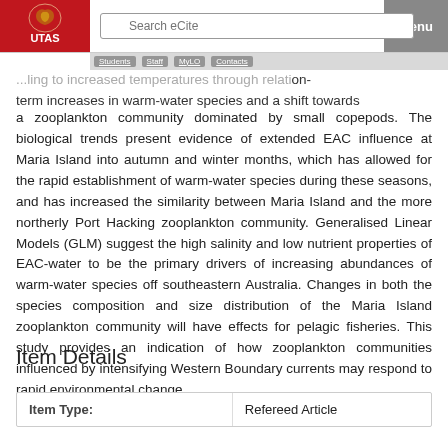UTAS eCite — Search eCite | Menu | Students | Staff | MyLO | Contacts
...ling to increased temperatures through a short-term increases in warm-water species and a shift towards a zooplankton community dominated by small copepods. The biological trends present evidence of extended EAC influence at Maria Island into autumn and winter months, which has allowed for the rapid establishment of warm-water species during these seasons, and has increased the similarity between Maria Island and the more northerly Port Hacking zooplankton community. Generalised Linear Models (GLM) suggest the high salinity and low nutrient properties of EAC-water to be the primary drivers of increasing abundances of warm-water species off southeastern Australia. Changes in both the species composition and size distribution of the Maria Island zooplankton community will have effects for pelagic fisheries. This study provides an indication of how zooplankton communities influenced by intensifying Western Boundary currents may respond to rapid environmental change.
Item Details
| Item Type: |  |
| --- | --- |
| Item Type: | Refereed Article |